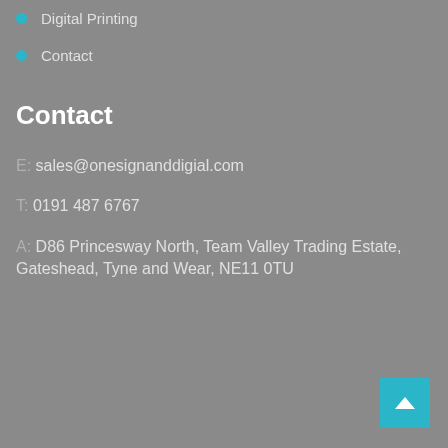Digital Printing
Contact
Contact
E: sales@onesignanddigial.com
T: 0191 487 6767
A: D86 Princesway North, Team Valley Trading Estate, Gateshead, Tyne and Wear, NE11 0TU